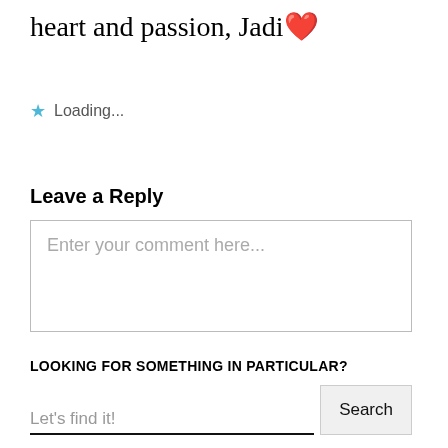heart and passion, Jadi❤
★ Loading...
Leave a Reply
Enter your comment here...
LOOKING FOR SOMETHING IN PARTICULAR?
Let's find it!
Search